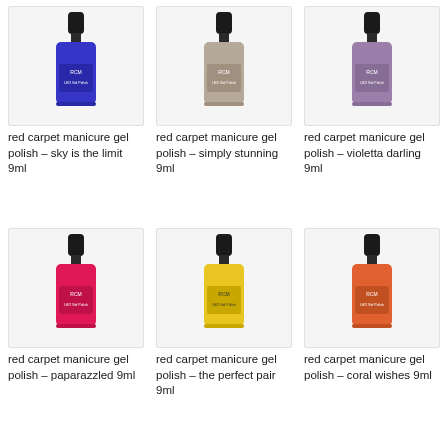[Figure (photo): Red Carpet Manicure gel polish bottle – blue color (sky is the limit), 9ml]
red carpet manicure gel polish – sky is the limit 9ml
[Figure (photo): Red Carpet Manicure gel polish bottle – taupe/grey color (simply stunning), 9ml]
red carpet manicure gel polish – simply stunning 9ml
[Figure (photo): Red Carpet Manicure gel polish bottle – purple/mauve color (violetta darling), 9ml]
red carpet manicure gel polish – violetta darling 9ml
[Figure (photo): Red Carpet Manicure gel polish bottle – hot pink color (paparazzled), 9ml]
red carpet manicure gel polish – paparazzled 9ml
[Figure (photo): Red Carpet Manicure gel polish bottle – yellow color (the perfect pair), 9ml]
red carpet manicure gel polish – the perfect pair 9ml
[Figure (photo): Red Carpet Manicure gel polish bottle – coral/orange color (coral wishes), 9ml]
red carpet manicure gel polish – coral wishes 9ml